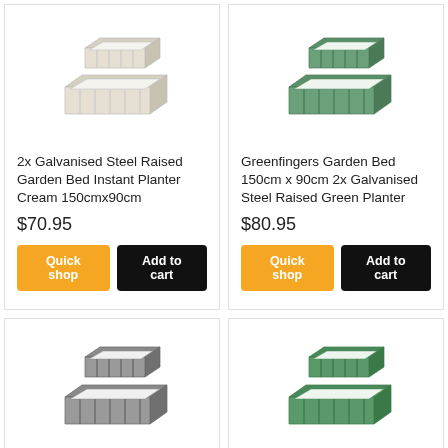[Figure (photo): 2x Galvanised Steel Raised Garden Bed - Cream color, two rectangular planters stacked]
2x Galvanised Steel Raised Garden Bed Instant Planter Cream 150cmx90cm
$70.95
[Figure (photo): Greenfingers Garden Bed 150cm x 90cm 2x Galvanised Steel Raised Green Planter - Green color, two rectangular planters stacked]
Greenfingers Garden Bed 150cm x 90cm 2x Galvanised Steel Raised Green Planter
$80.95
[Figure (photo): Grey galvanised steel raised garden bed planter, two stacked rectangular forms]
[Figure (photo): Green galvanised steel raised garden bed planter, two stacked rectangular forms]